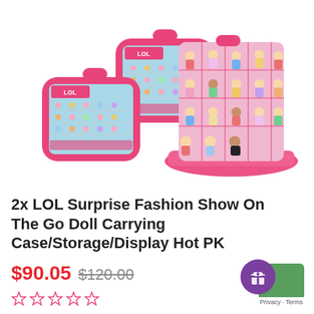[Figure (photo): Product photo showing two pink LOL Surprise Fashion Show On The Go carrying cases (closed and open), one showing dolls displayed on the interior organizer panel]
2x LOL Surprise Fashion Show On The Go Doll Carrying Case/Storage/Display Hot PK
$90.05  $120.00
☆ ☆ ☆ ☆ ☆